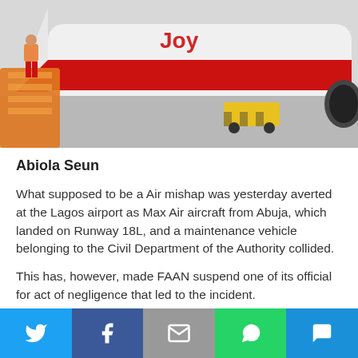[Figure (photo): Red and white aircraft on tarmac with orange gangway, person in red pants visible, yellow ground vehicle in background]
Abiola Seun
What supposed to be a Air mishap was yesterday averted at the Lagos airport as Max Air aircraft from Abuja, which landed on Runway 18L, and a maintenance vehicle belonging to the Civil Department of the Authority collided.
This has, however, made FAAN suspend one of its official for act of negligence that led to the incident.
[Figure (infographic): Social share bar with Twitter, Facebook, Email, WhatsApp, and SMS buttons]